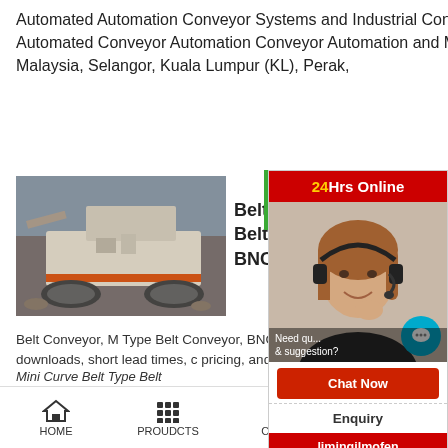Automated Automation Conveyor Systems and Industrial Conveyors Conveyor Automation Automated Conveyor Automation Conveyor Automation and Machine System Building Malaysia, Selangor, Kuala Lumpur (KL), Perak,
[Figure (photo): Industrial mining/crushing machine - large tracked conveyor/crusher machine outdoors]
Belt Conveyor, M Belt Type Be BNC ...
Belt Conveyor, M Type Belt Conveyor, BNC from OKURA. MISUMI shipping, free CAD downloads, short lead times, pricing, and no minimum order quantity. Purchase Mini Curve Belt Type Belt...
[Figure (photo): Chat support agent - woman wearing headset smiling, customer service representative]
HOME   PROUDCTS   CASES   limingjlmofen